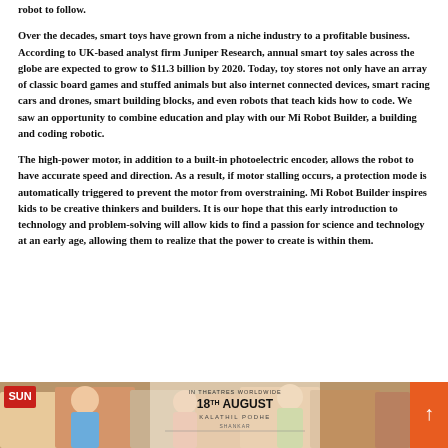robot to follow.
Over the decades, smart toys have grown from a niche industry to a profitable business. According to UK-based analyst firm Juniper Research, annual smart toy sales across the globe are expected to grow to $11.3 billion by 2020. Today, toy stores not only have an array of classic board games and stuffed animals but also internet connected devices, smart racing cars and drones, smart building blocks, and even robots that teach kids how to code. We saw an opportunity to combine education and play with our Mi Robot Builder, a building and coding robotic.
The high-power motor, in addition to a built-in photoelectric encoder, allows the robot to have accurate speed and direction. As a result, if motor stalling occurs, a protection mode is automatically triggered to prevent the motor from overstraining. Mi Robot Builder inspires kids to be creative thinkers and builders. It is our hope that this early introduction to technology and problem-solving will allow kids to find a passion for science and technology at an early age, allowing them to realize that the power to create is within them.
[Figure (photo): Advertisement banner showing a Bollywood movie promotion. Features people celebrating, text 'IN THEATRES WORLDWIDE', '18TH AUGUST', 'KALATHIL PODHE' and 'SHANKAR', with a Sun logo in top left and an orange scroll-to-top button on the right.]